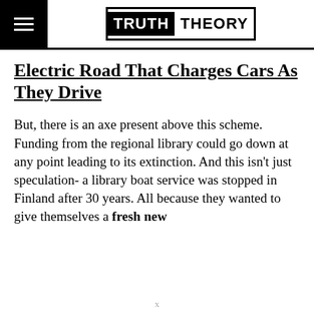TRUTH THEORY
Electric Road That Charges Cars As They Drive
But, there is an axe present above this scheme. Funding from the regional library could go down at any point leading to its extinction. And this isn't just speculation- a library boat service was stopped in Finland after 30 years. All because they wanted to give themselves a fresh new